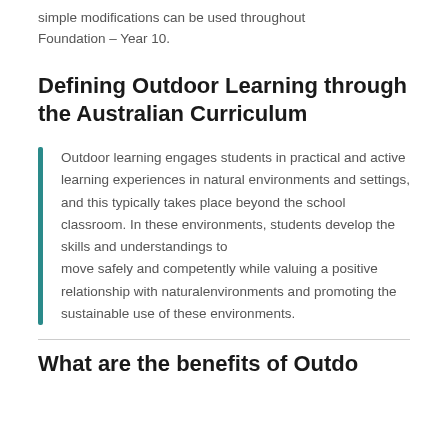simple modifications can be used throughout Foundation – Year 10.
Defining Outdoor Learning through the Australian Curriculum
Outdoor learning engages students in practical and active learning experiences in natural environments and settings, and this typically takes place beyond the school classroom. In these environments, students develop the skills and understandings to move safely and competently while valuing a positive relationship with naturalenvironments and promoting the sustainable use of these environments.
What are the benefits of Outdo...